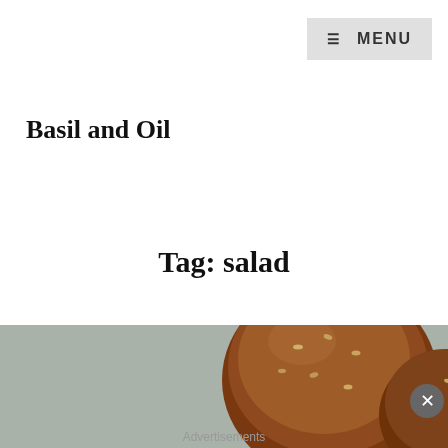≡ MENU
Basil and Oil
Tag: salad
[Figure (photo): Close-up photo of bread rolls with sesame seeds scattered on a baking tray]
Privacy & Cookies: This site uses cookies. By continuing to use this website, you agree to their use.
To find out more, including how to control cookies, see here: Cookie Policy
Close and accept
Advertisements